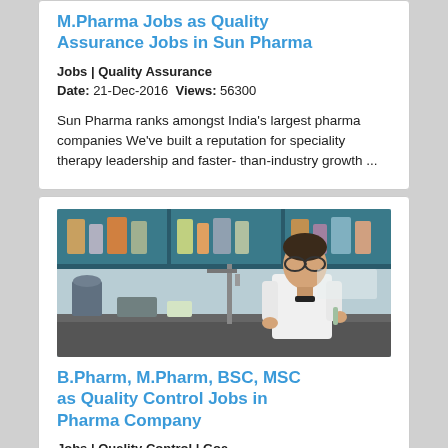M.Pharma Jobs as Quality Assurance Jobs in Sun Pharma
Jobs | Quality Assurance
Date: 21-Dec-2016  Views: 56300
Sun Pharma ranks amongst India's largest pharma companies We've built a reputation for speciality therapy leadership and faster- than-industry growth ...
[Figure (photo): Laboratory scientist in white coat working at a lab bench with shelves of chemicals and reagents in background]
B.Pharm, M.Pharm, BSC, MSC as Quality Control Jobs in Pharma Company
Jobs | Quality Control | Goa
Date: 18-Feb-2016  Views: 11344
Easy Reach Placement, Established is a excellent brand equity with a premium image amongst HR community at many Indian Giants and Blue chip Multinati ...